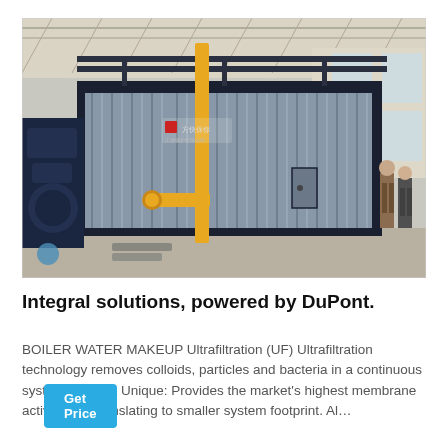[Figure (photo): Industrial boiler or heat exchanger equipment with corrugated metal cladding in a large factory/warehouse building. Yellow gas pipes visible on the left side, dark blue machinery on the far left, two workers visible on the right side. Chinese text signage visible on the equipment. Factory has large windows and steel roof trusses.]
Integral solutions, powered by DuPont.
BOILER WATER MAKEUP Ultrafiltration (UF) Ultrafiltration technology removes colloids, particles and bacteria in a continuous system. DuPont Unique: Provides the market's highest membrane active area, translating to smaller system footprint. Al…
Get Price